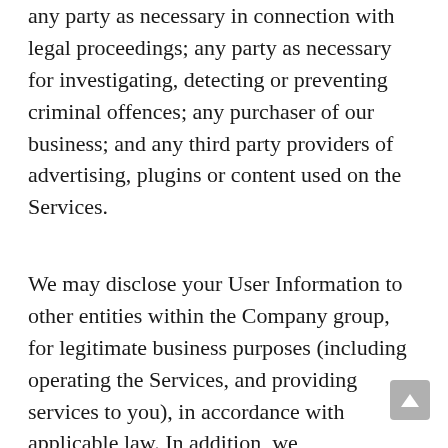any party as necessary in connection with legal proceedings; any party as necessary for investigating, detecting or preventing criminal offences; any purchaser of our business; and any third party providers of advertising, plugins or content used on the Services.
We may disclose your User Information to other entities within the Company group, for legitimate business purposes (including operating the Services, and providing services to you), in accordance with applicable law. In addition, we